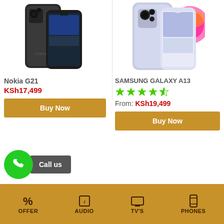[Figure (photo): Nokia G21 smartphone product photo showing front and back views in dark/black color]
Nokia G21
KSh17,499
Buy Now
[Figure (photo): Samsung Galaxy A13 smartphone product photo showing front and back views in light purple/lavender color]
SAMSUNG GALAXY A13
[Figure (other): 4.5 out of 5 stars rating (4 filled stars and 1 half star)]
From: KSh19,499
Buy Now
Call us
OFFER  AUDIO  TV'S  PHONES